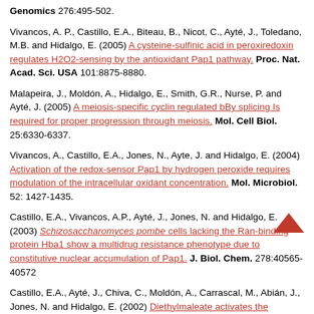Genomics 276:495-502.
Vivancos, A. P., Castillo, E.A., Biteau, B., Nicot, C., Ayté, J., Toledano, M.B. and Hidalgo, E. (2005) A cysteine-sulfinic acid in peroxiredoxin regulates H2O2-sensing by the antioxidant Pap1 pathway. Proc. Nat. Acad. Sci. USA 101:8875-8880.
Malapeira, J., Moldón, A., Hidalgo, E., Smith, G.R., Nurse, P. and Ayté, J. (2005) A meiosis-specific cyclin regulated bBy splicing Is required for proper progression through meiosis. Mol. Cell Biol. 25:6330-6337.
Vivancos, A., Castillo, E.A., Jones, N., Ayte, J. and Hidalgo, E. (2004) Activation of the redox-sensor Pap1 by hydrogen peroxide requires modulation of the intracellular oxidant concentration. Mol. Microbiol. 52: 1427-1435.
Castillo, E.A., Vivancos, A.P., Ayté, J., Jones, N. and Hidalgo, E. (2003) Schizosaccharomyces pombe cells lacking the Ran-binding protein Hba1 show a multidrug resistance phenotype due to constitutive nuclear accumulation of Pap1. J. Biol. Chem. 278:40565-40572
Castillo, E.A., Ayté, J., Chiva, C., Moldón, A., Carrascal, M., Abián, J., Jones, N. and Hidalgo, E. (2002) Diethylmaleate activates the